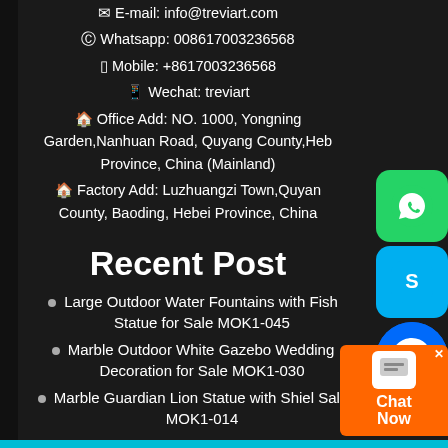Whatsapp: 008617003236568
Mobile: +8617003236568
Wechat: treviart
Office Add: NO. 1000, Yongning Garden,Nanhuan Road, Quyang County,Hebei Province, China (Mainland)
Factory Add: Luzhuangzi Town,Quyang County, Baoding, Hebei Province, China
Recent Post
Large Outdoor Water Fountains with Fish Statue for Sale MOK1-045
Marble Outdoor White Gazebo Wedding Decoration for Sale MOK1-030
Marble Guardian Lion Statue with Shield for Sale MOK1-014
Marble Virgin Mary Garden Statue Handmade Painted Art for Sale CHS-782
Beautiful Marble Column Design with